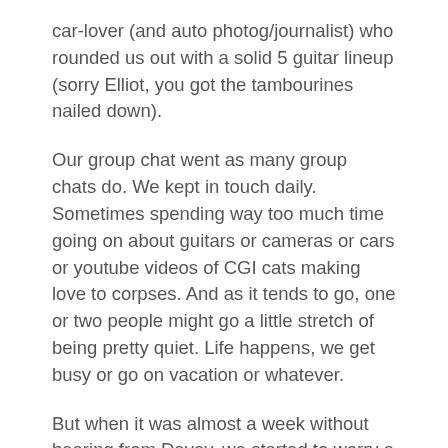car-lover (and auto photog/journalist) who rounded us out with a solid 5 guitar lineup (sorry Elliot, you got the tambourines nailed down).
Our group chat went as many group chats do. We kept in touch daily. Sometimes spending way too much time going on about guitars or cameras or cars or youtube videos of CGI cats making love to corpses. And as it tends to go, one or two people might go a little stretch of being pretty quiet. Life happens, we get busy or go on vacation or whatever.
But when it was almost a week without hearing from Davey, we started to worry a bit. First it was jokes about being kidnapped. That quickly turned to real worry about something being wrong. Before we knew it, the internet kinda blew up with talk about how he was on a long ride through some mountains and hadn't checked in with anyone for a few days. There was a search and rescue party. His bike and gear…